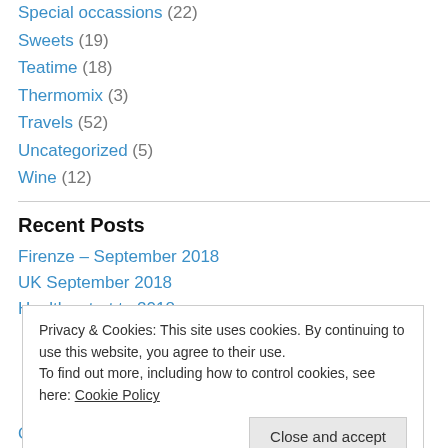Special occassions (22)
Sweets (19)
Teatime (18)
Thermomix (3)
Travels (52)
Uncategorized (5)
Wine (12)
Recent Posts
Firenze – September 2018
UK September 2018
Healthy start to 2018
Privacy & Cookies: This site uses cookies. By continuing to use this website, you agree to their use. To find out more, including how to control cookies, see here: Cookie Policy
October 2018